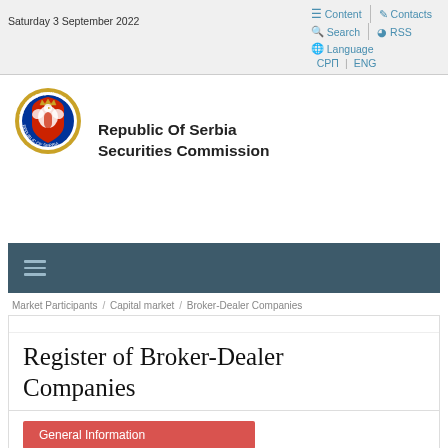Saturday 3 September 2022
Content  Contacts  Search  RSS  Language  СРП  ENG
[Figure (logo): Republic of Serbia Securities Commission circular emblem/seal with eagle and crown]
Republic Of Serbia Securities Commission
[Figure (other): Navigation hamburger menu bar, dark teal background]
Market Participants / Capital market / Broker-Dealer Companies
Register of Broker-Dealer Companies
General Information